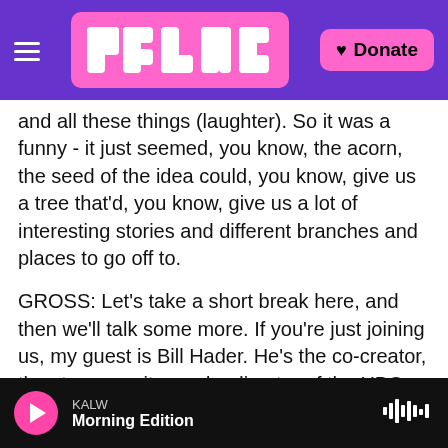NPR / KALW — Morning Edition — Donate
and all these things (laughter). So it was a funny - it just seemed, you know, the acorn, the seed of the idea could, you know, give us a tree that'd, you know, give us a lot of interesting stories and different branches and places to go off to.
GROSS: Let's take a short break here, and then we'll talk some more. If you're just joining us, my guest is Bill Hader. He's the co-creator, the star, co-writer and a director of the HBO series "Barry." We'll be right back. This is FRESH AIR.
(SOUNDBITE OF BRUNO COULAIS' "SPINK AND
KALW — Morning Edition